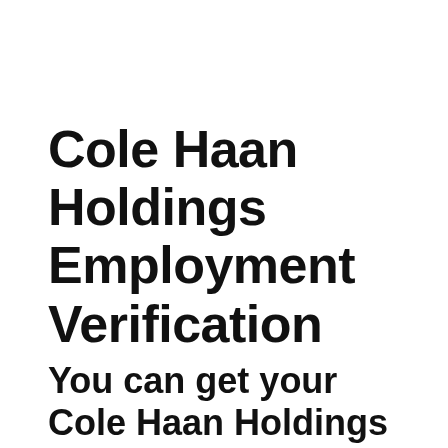Cole Haan Holdings Employment Verification
You can get your Cole Haan Holdings employment verification